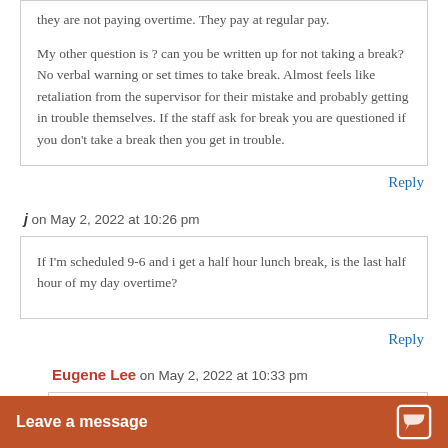they are not paying overtime. They pay at regular pay.
My other question is ? can you be written up for not taking a break? No verbal warning or set times to take break. Almost feels like retaliation from the supervisor for their mistake and probably getting in trouble themselves. If the staff ask for break you are questioned if you don't take a break then you get in trouble.
Reply
j on May 2, 2022 at 10:26 pm
If I'm scheduled 9-6 and i get a half hour lunch break, is the last half hour of my day overtime?
Reply
Eugene Lee on May 2, 2022 at 10:33 pm
Yes, you are corre...
Leave a message